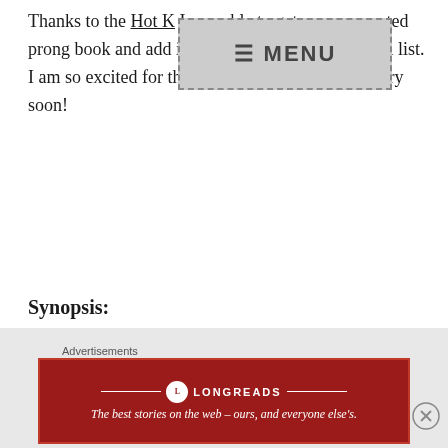Thanks to the Hot K[eyword], I was able to get an uncorrected pro[of of the upcomig] book and add it to my December Book Haul list. I am so excited for this one, and hope to read it very soon!
Synopsis:
Divided by their castes. United by their vengeance.
Iraya has spent her life in a cell, but every day brings her closer to freedom—and vengeance.
Jazmyne is the queen's daughter, but unlike her sister before her, she has no intention of dying to
Advertisements
[Figure (other): Longreads advertisement banner with red background. Logo circle with L, text: The best stories on the web – ours, and everyone else's.]